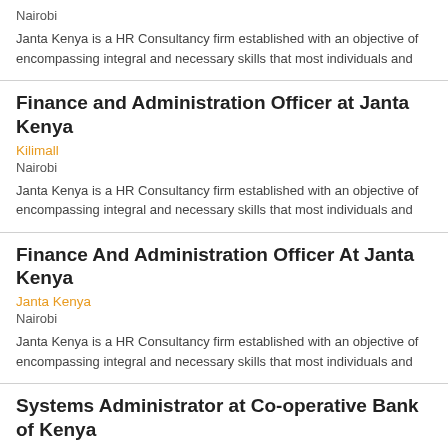Nairobi
Janta Kenya is a HR Consultancy firm established with an objective of encompassing integral and necessary skills that most individuals and
Finance and Administration Officer at Janta Kenya
Kilimall
Nairobi
Janta Kenya is a HR Consultancy firm established with an objective of encompassing integral and necessary skills that most individuals and
Finance And Administration Officer At Janta Kenya
Janta Kenya
Nairobi
Janta Kenya is a HR Consultancy firm established with an objective of encompassing integral and necessary skills that most individuals and
Systems Administrator at Co-operative Bank of Kenya
Cooperative Bank Of Kenya
Nairobi